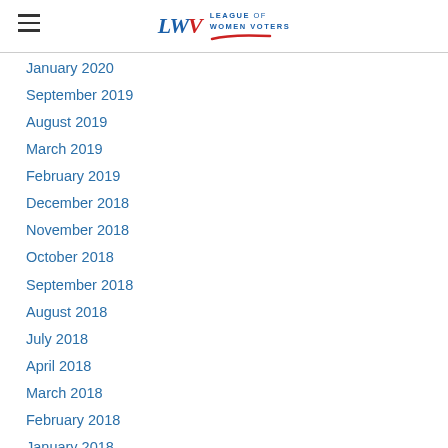LWV League of Women Voters
January 2020
September 2019
August 2019
March 2019
February 2019
December 2018
November 2018
October 2018
September 2018
August 2018
July 2018
April 2018
March 2018
February 2018
January 2018
December 2017
November 2017
September 2017